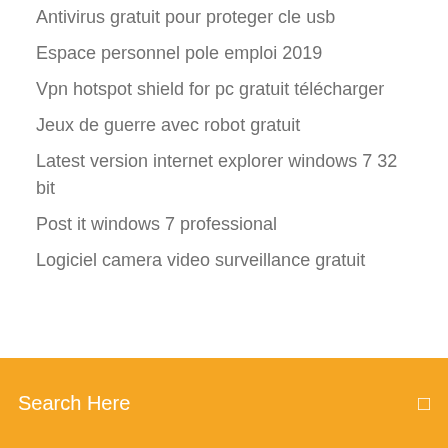Antivirus gratuit pour proteger cle usb
Espace personnel pole emploi 2019
Vpn hotspot shield for pc gratuit télécharger
Jeux de guerre avec robot gratuit
Latest version internet explorer windows 7 32 bit
Post it windows 7 professional
Logiciel camera video surveillance gratuit
[Figure (screenshot): Orange search bar with text 'Search Here' and a search icon on the right]
Microsoft security essentials pour vista
The seven deadly sins season 2 episode 14
Craquer le mot de passe dun fichier zip
Farming simulator 2019 mods moissonneuse john deere
Ableton live 10 gratuit télécharger complete version pc
Telecharger nba live mobile basket-ball
Aspirer un site sous mac
Text twist 2 gratuit télécharger for android tablet
Comment savoir si on a etait supprimé de snapchat
Video size reducer software free